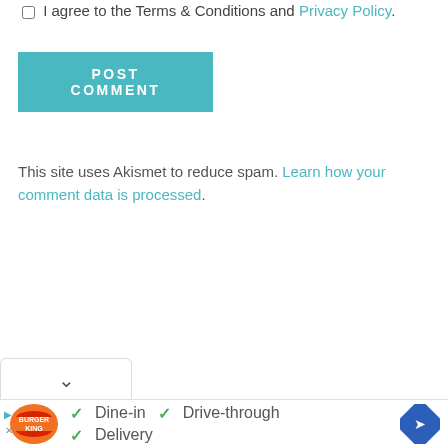I agree to the Terms & Conditions and Privacy Policy.
POST COMMENT
This site uses Akismet to reduce spam. Learn how your comment data is processed.
[Figure (other): Collapse/minimize chevron tab bar at bottom of page content area]
[Figure (other): Burger King advertisement banner showing logo, checkmarks for Dine-in, Drive-through, Delivery, and a blue navigation diamond icon]